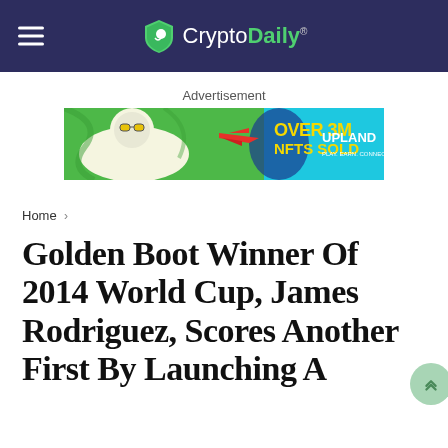CryptoDaily
Advertisement
[Figure (infographic): Advertisement banner for Upland: 'OVER 3M NFTS SOLD' with a cartoon llama wearing sunglasses on green background with cyan/blue right portion]
Home >
Golden Boot Winner Of 2014 World Cup, James Rodriguez, Scores Another First By Launching A